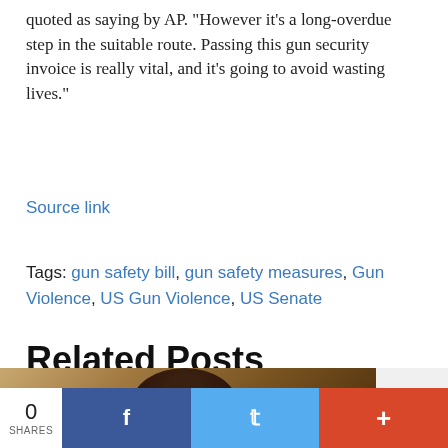quoted as saying by AP. "However it's a long-overdue step in the suitable route. Passing this gun security invoice is really vital, and it's going to avoid wasting lives."
Source link
Tags: gun safety bill, gun safety measures, Gun Violence, US Gun Violence, US Senate
Related Posts
[Figure (photo): Photo of a person, partially visible, related to a news article about gun safety]
0 SHARES | Facebook share | Twitter share | + share